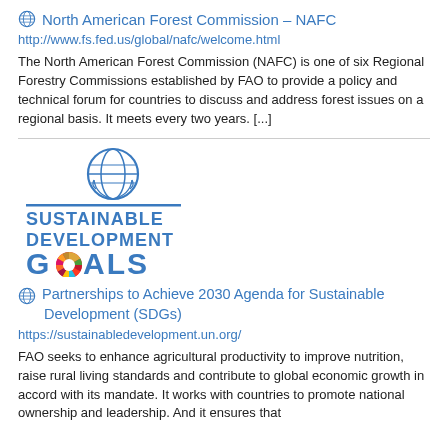North American Forest Commission - NAFC
http://www.fs.fed.us/global/nafc/welcome.html
The North American Forest Commission (NAFC) is one of six Regional Forestry Commissions established by FAO to provide a policy and technical forum for countries to discuss and address forest issues on a regional basis. It meets every two years. [...]
[Figure (logo): UN Sustainable Development Goals logo with globe emblem above text reading SUSTAINABLE DEVELOPMENT GOALS with colorful wheel in the O of GOALS]
Partnerships to Achieve 2030 Agenda for Sustainable Development (SDGs)
https://sustainabledevelopment.un.org/
FAO seeks to enhance agricultural productivity to improve nutrition, raise rural living standards and contribute to global economic growth in accord with its mandate. It works with countries to promote national ownership and leadership. And it ensures that